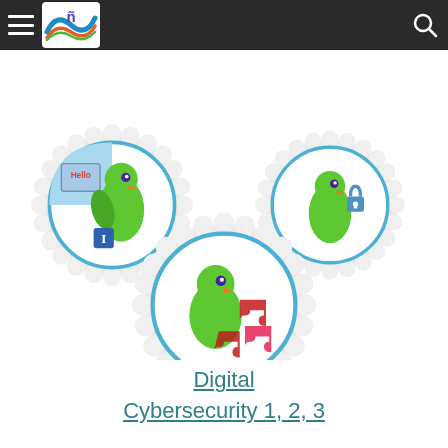Navigation header with hamburger menu, logo, and search icon
[Figure (photo): Three embroidered Girl Scout-style circular badges featuring a green bird/parrot character. Top-left badge shows the bird with a 'Hello' name tag and letter I. Top-right badge shows the bird with a padlock icon. Bottom-center (larger) badge shows the bird with red puzzle pieces — representing Digital Cybersecurity levels 1, 2, and 3.]
Digital Cybersecurity 1, 2, 3